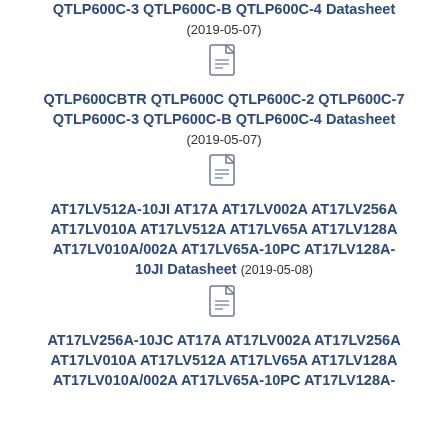QTLP600CBTR QTLP600C QTLP600C-2 QTLP600C-7 QTLP600C-3 QTLP600C-B QTLP600C-4 Datasheet
(2019-05-07)
[Figure (other): PDF file icon]
QTLP600CBTR QTLP600C QTLP600C-2 QTLP600C-7 QTLP600C-3 QTLP600C-B QTLP600C-4 Datasheet
(2019-05-07)
[Figure (other): PDF file icon]
AT17LV512A-10JI AT17A AT17LV002A AT17LV256A AT17LV010A AT17LV512A AT17LV65A AT17LV128A AT17LV010A/002A AT17LV65A-10PC AT17LV128A-10JI Datasheet
(2019-05-08)
[Figure (other): PDF file icon]
AT17LV256A-10JC AT17A AT17LV002A AT17LV256A AT17LV010A AT17LV512A AT17LV65A AT17LV128A AT17LV010A/002A AT17LV65A-10PC AT17LV128A-